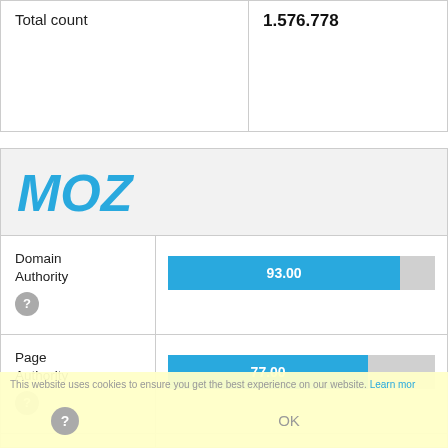|  |  |
| --- | --- |
| Total count | 1.576.778 |
[Figure (screenshot): MOZ logo in blue italic bold text]
| Metric | Value |
| --- | --- |
| Domain Authority | 93.00 |
| Page Authority | 77.00 |
| MOZ Links | 27.898.011 |
This website uses cookies to ensure you get the best experience on our website. Learn more
OK